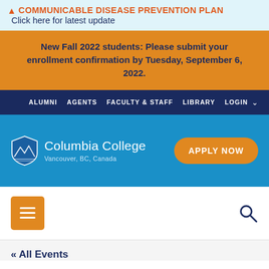⚠ COMMUNICABLE DISEASE PREVENTION PLAN  Click here for latest update
New Fall 2022 students: Please submit your enrollment confirmation by Tuesday, September 6, 2022.
ALUMNI  AGENTS  FACULTY & STAFF  LIBRARY  LOGIN
[Figure (logo): Columbia College Vancouver, BC, Canada logo with shield emblem and APPLY NOW button]
« All Events